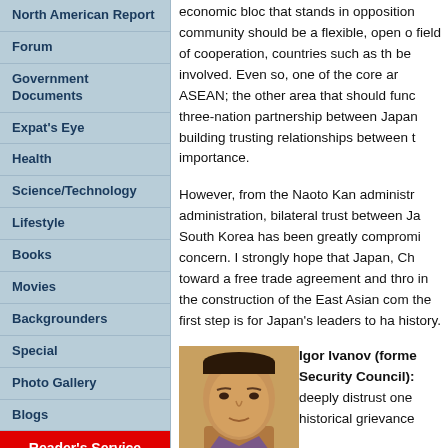North American Report
Forum
Government Documents
Expat's Eye
Health
Science/Technology
Lifestyle
Books
Movies
Backgrounders
Special
Photo Gallery
Blogs
Reader's Service
Learning with 'Beijing Review'
economic bloc that stands in opposition community should be a flexible, open o field of cooperation, countries such as t be involved. Even so, one of the core ar ASEAN; the other area that should func three-nation partnership between Japan building trusting relationships between t importance.
However, from the Naoto Kan administr administration, bilateral trust between Ja South Korea has been greatly comprom concern. I strongly hope that Japan, Ch toward a free trade agreement and thro in the construction of the East Asian cor the first step is for Japan's leaders to ha history.
Igor Ivanov (forme Security Council): deeply distrust one historical grievance